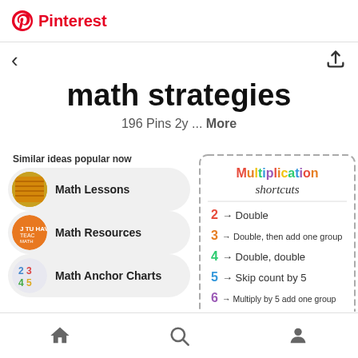Pinterest
math strategies
196 Pins 2y ... More
Similar ideas popular now
Math Lessons
Math Resources
Math Anchor Charts
[Figure (screenshot): Multiplication shortcuts chart showing: 2 → Double, 3 → Double then add one group, 4 → Double double, 5 → Skip count by 5, 6 → Multiply by 5 add one group]
Home, Search, Profile navigation icons